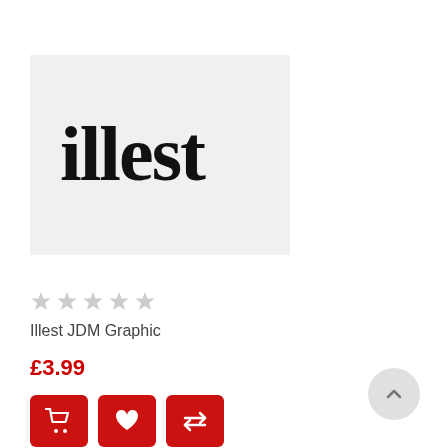[Figure (logo): Illest brand logo in cursive script, black text on light grey background]
☆☆☆☆☆
Illest JDM Graphic
£3.99
[Figure (infographic): Three red action buttons: shopping cart, heart/wishlist, and compare arrows]